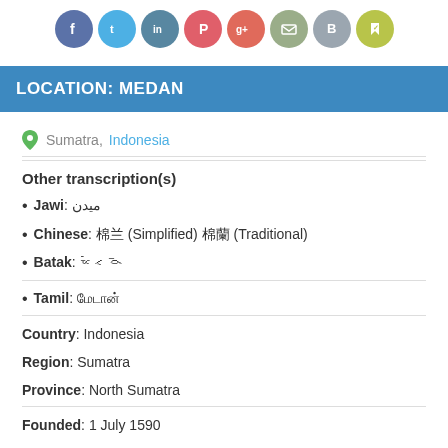[Figure (infographic): Row of 8 social media icon circles: Facebook, Twitter, LinkedIn, Pinterest, Google+, Email, Blogger, Bookmarking]
LOCATION: MEDAN
📍 Sumatra, Indonesia
Other transcription(s)
Jawi: ميدن
Chinese: 棉兰 (Simplified) 棉蘭 (Traditional)
Batak: ᯔᯩᯑᯉ᯲
Tamil: மேடான்
Country: Indonesia
Region: Sumatra
Province: North Sumatra
Founded: 1 July 1590